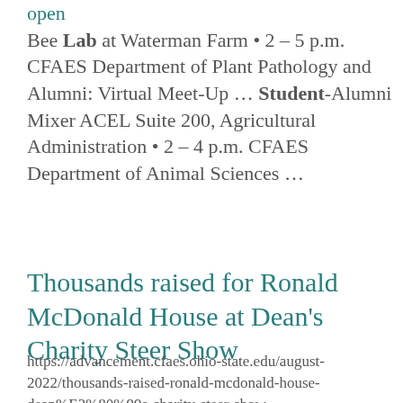open
Bee Lab at Waterman Farm • 2 – 5 p.m. CFAES Department of Plant Pathology and Alumni: Virtual Meet-Up ... Student-Alumni Mixer ACEL Suite 200, Agricultural Administration • 2 – 4 p.m. CFAES Department of Animal Sciences ...
Thousands raised for Ronald McDonald House at Dean's Charity Steer Show
https://advancement.cfaes.ohio-state.edu/august-2022/thousands-raised-ronald-mcdonald-house-dean%E2%80%99s-charity-steer-show
https://cfaes.osu.edu/news/articles/thousand...